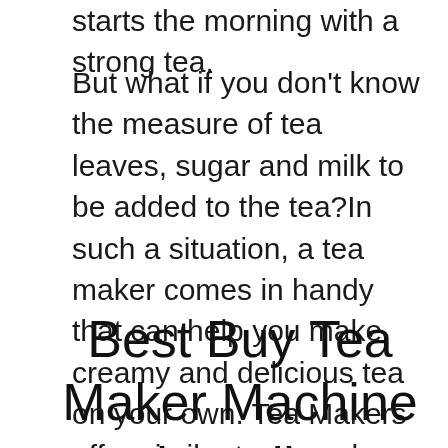starts the morning with a strong tea.
But what if you don't know the measure of tea leaves, sugar and milk to be added to the tea?In such a situation, a tea maker comes in handy that can help you make creamy and delicious tea on your own. Tea Makers offer similar taste and better consistency on every single use.
Best Buy Tea Maker Machine in India
However, there is a wide range of tea makers available in the Indian market. Choosing the right one can be difficult for those that not about the build quality, material, price range and colour options